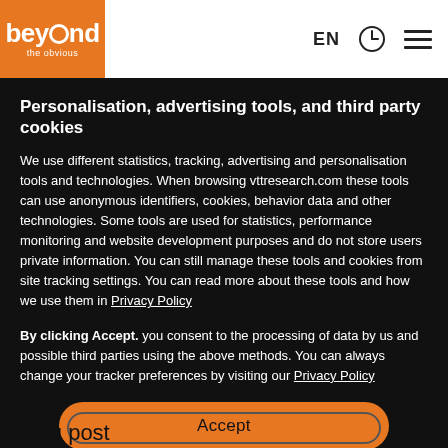[Figure (logo): Beyond the obvious logo — white text on orange background square]
EN
[Figure (other): Clock icon (circular outline with clock hands)]
[Figure (other): Hamburger menu icon (three horizontal lines)]
Personalisation, advertising tools, and third party cookies
We use different statistics, tracking, advertising and personalisation tools and technologies. When browsing vttresearch.com these tools can use anonymous identifiers, cookies, behavior data and other technologies. Some tools are used for statistics, performance monitoring and website development purposes and do not store users private information. You can still manage these tools and cookies from site tracking settings. You can read more about these tools and how we use them in Privacy Policy
By clicking Accept. you consent to the processing of data by us and possible third parties using the above methods. You can always change your tracker preferences by visiting our Privacy Policy
Accept
Blog post